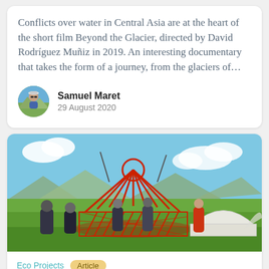Conflicts over water in Central Asia are at the heart of the short film Beyond the Glacier, directed by David Rodríguez Muñiz in 2019. An interesting documentary that takes the form of a journey, from the glaciers of...
Samuel Maret
29 August 2020
[Figure (photo): People constructing a yurt frame (red lattice/pole structure) outdoors with a blue sky backdrop, another completed white yurt visible to the right.]
Eco Projects   Article